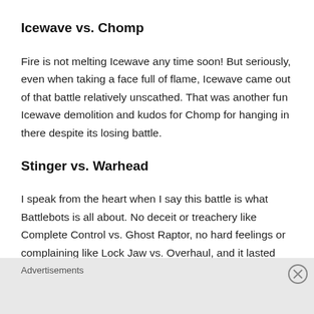Icewave vs. Chomp
Fire is not melting Icewave any time soon! But seriously, even when taking a face full of flame, Icewave came out of that battle relatively unscathed. That was another fun Icewave demolition and kudos for Chomp for hanging in there despite its losing battle.
Stinger vs. Warhead
I speak from the heart when I say this battle is what Battlebots is all about. No deceit or treachery like Complete Control vs. Ghost Raptor, no hard feelings or complaining like Lock Jaw vs. Overhaul, and it lasted
Advertisements